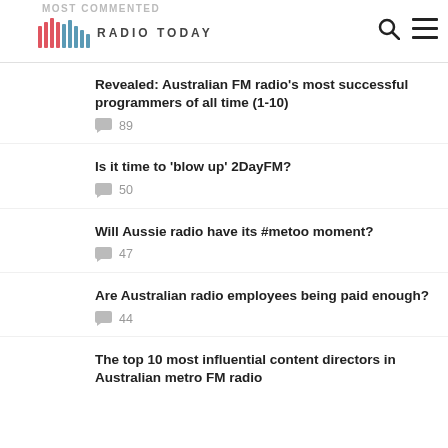MOST COMMENTED — Radio Today
Revealed: Australian FM radio's most successful programmers of all time (1-10) — 89 comments
Is it time to 'blow up' 2DayFM? — 50 comments
Will Aussie radio have its #metoo moment? — 47 comments
Are Australian radio employees being paid enough? — 44 comments
The top 10 most influential content directors in Australian metro FM radio